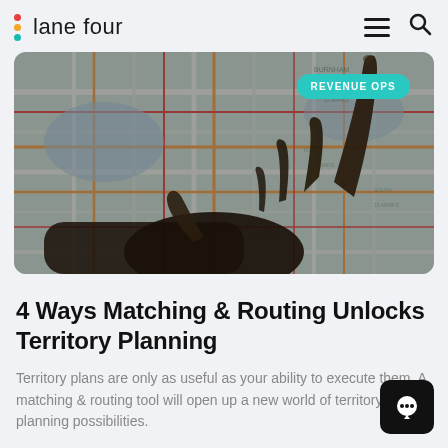lane four
[Figure (photo): A hand pointing at a colorful street map, with a teal 'REVENUE OPS' badge overlay in the top right corner of the image.]
4 Ways Matching & Routing Unlocks Territory Planning
Territory plans are only as useful as your ability to execute them. A matching & routing tool will open up a new world of territory planning possibilities.